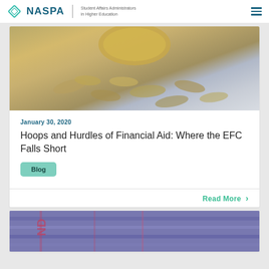NASPA Student Affairs Administrators in Higher Education
[Figure (photo): Gold piggy bank with scattered coins on a light background]
January 30, 2020
Hoops and Hurdles of Financial Aid: Where the EFC Falls Short
Blog
Read More
[Figure (photo): Stack of colorful hardcover books partially visible at bottom of page]